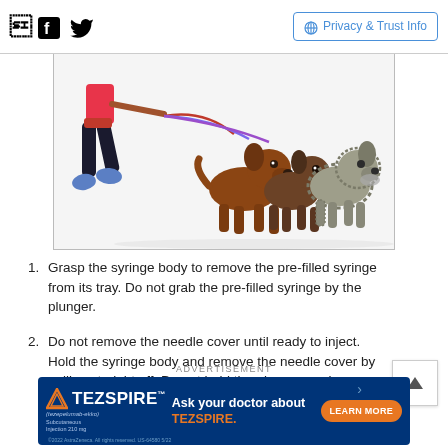Facebook Twitter Privacy & Trust Info
[Figure (illustration): Animated/illustrated image of a person walking three dogs on leashes against a white background. The person is shown from the waist down wearing red shorts and blue sneakers. Three dogs of different breeds are being walked.]
Grasp the syringe body to remove the pre-filled syringe from its tray. Do not grab the pre-filled syringe by the plunger.
Do not remove the needle cover until ready to inject. Hold the syringe body and remove the needle cover by pulling straight off. Do not hold the plunger or plunger head while removing the needle cover. You may see a
ADVERTISEMENT
[Figure (infographic): TEZSPIRE advertisement banner with dark blue background. Shows TEZSPIRE (tezepelumab-ekko) logo with orange triangle, text 'Ask your doctor about TEZSPIRE.' and an orange 'LEARN MORE' button. Copyright 2022 AstraZeneca. All rights reserved. US-64580 5/22]